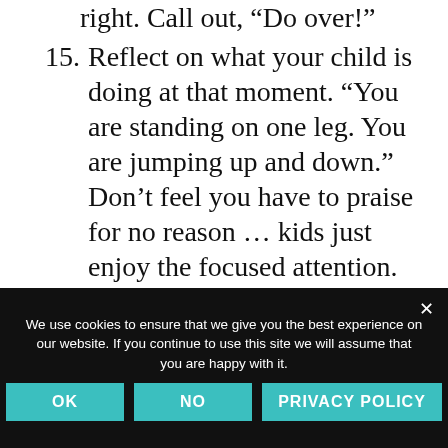right. Call out, “Do over!”
15. Reflect on what your child is doing at that moment. “You are standing on one leg. You are jumping up and down.” Don’t feel you have to praise for no reason … kids just enjoy the focused attention.
16. Teach your child a simple chore.
17. Slow down. Take twice as long as you plan on doing something, and do it
We use cookies to ensure that we give you the best experience on our website. If you continue to use this site we will assume that you are happy with it.